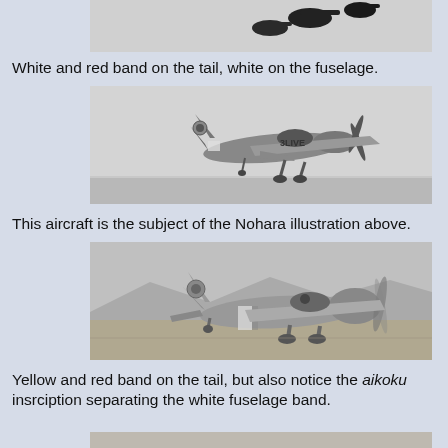[Figure (photo): Top portion of a black-and-white photograph showing what appears to be aircraft silhouettes against a light sky.]
White and red band on the tail, white on the fuselage.
[Figure (photo): Black-and-white photograph of a WWII-era Japanese military aircraft in flight, showing tail markings and fuselage band.]
This aircraft is the subject of the Nohara illustration above.
[Figure (photo): Black-and-white photograph of a WWII-era Japanese military aircraft on or near the ground, showing tail and fuselage markings with aikoku inscription.]
Yellow and red band on the tail, but also notice the aikoku insrciption separating the white fuselage band.
[Figure (photo): Bottom edge of another photograph, partially visible.]